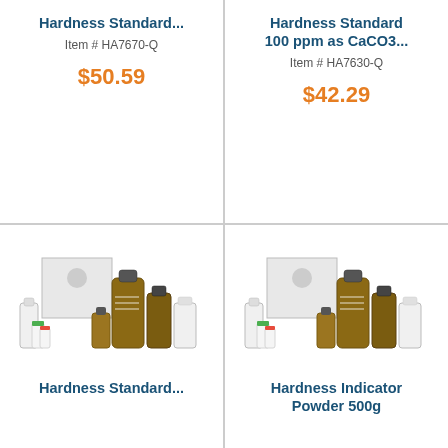Hardness Standard...
Item # HA7670-Q
$50.59
Hardness Standard 100 ppm as CaCO3...
Item # HA7630-Q
$42.29
[Figure (photo): Collection of laboratory chemical bottles of various sizes including white plastic bottles, amber glass bottles, and a white cardboard box]
Hardness Standard...
[Figure (photo): Collection of laboratory chemical bottles of various sizes including white plastic bottles, amber glass bottles, and a white cardboard box]
Hardness Indicator Powder 500g